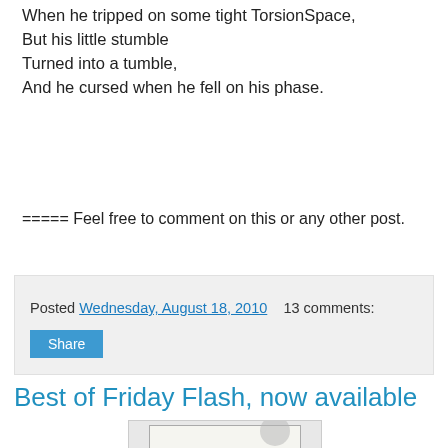When he tripped on some tight TorsionSpace,
But his little stumble
Turned into a tumble,
And he cursed when he fell on his phase.
===== Feel free to comment on this or any other post.
Posted Wednesday, August 18, 2010   13 comments:
Share
Best of Friday Flash, now available
[Figure (photo): Book cover of 'Best of Friday Flash, Volume One: A Collection of Short Fiction']